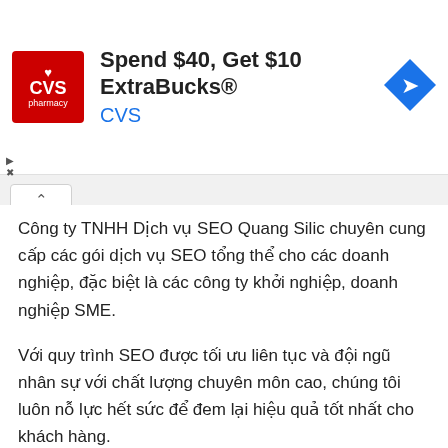[Figure (infographic): CVS Pharmacy advertisement banner showing red CVS logo on left, text 'Spend $40, Get $10 ExtraBucks® CVS' in center, blue navigation arrow icon on right, with small play and close controls below left]
Công ty TNHH Dịch vụ SEO Quang Silic chuyên cung cấp các gói dịch vụ SEO tổng thể cho các doanh nghiệp, đặc biệt là các công ty khởi nghiệp, doanh nghiệp SME.
Với quy trình SEO được tối ưu liên tục và đội ngũ nhân sự với chất lượng chuyên môn cao, chúng tôi luôn nỗ lực hết sức để đem lại hiệu quả tốt nhất cho khách hàng.